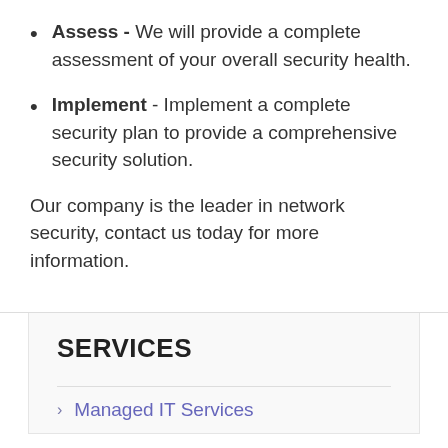Assess - We will provide a complete assessment of your overall security health.
Implement - Implement a complete security plan to provide a comprehensive security solution.
Our company is the leader in network security, contact us today for more information.
SERVICES
Managed IT Services